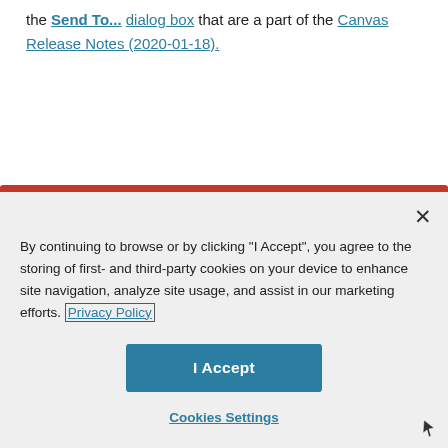the Send To... dialog box that are a part of the Canvas Release Notes (2020-01-18).
[Figure (other): Kudos button showing thumbs up icon and '0 Kudos' text in a pill-shaped border]
[Figure (screenshot): Cookie consent modal overlay with close button (×), body text about cookies policy, Privacy Policy link, I Accept button, and Cookies Settings link]
By continuing to browse or by clicking "I Accept", you agree to the storing of first- and third-party cookies on your device to enhance site navigation, analyze site usage, and assist in our marketing efforts. Privacy Policy
I Accept
Cookies Settings